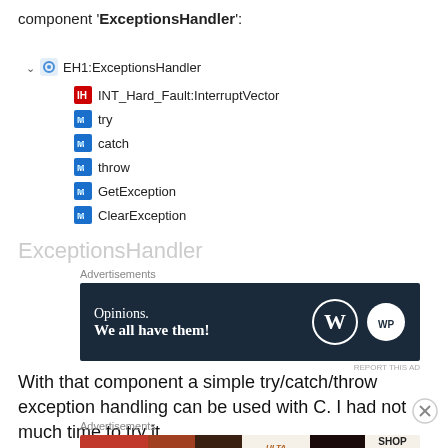component 'ExceptionsHandler':
[Figure (screenshot): Tree view showing EH1:ExceptionsHandler component with children: INT_Hard_Fault:InterruptVector, try, catch, throw, GetException, ClearException]
ExceptionsHandler (watermark)
[Figure (other): Advertisement banner: Opinions. We all have them! with WordPress logo]
With that component a simple try/catch/throw exception handling can be used with C. I had not much time to try it
[Figure (other): Advertisement banner: Ulta Beauty SHOP NOW]